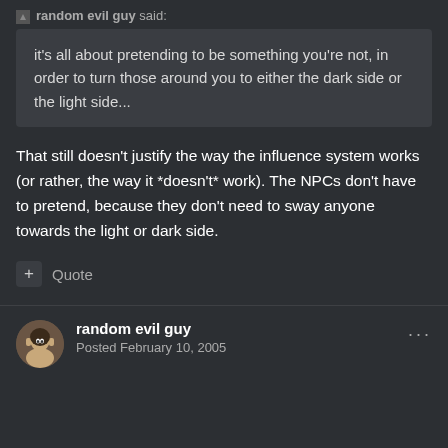random evil guy said:
it's all about pretending to be something you're not, in order to turn those around you to either the dark side or the light side...
That still doesn't justify the way the influence system works (or rather, the way it *doesn't* work). The NPCs don't have to pretend, because they don't need to sway anyone towards the light or dark side.
+ Quote
random evil guy
Posted February 10, 2005